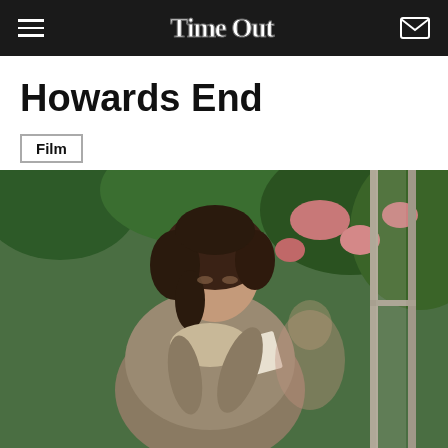Time Out
Howards End
Film
[Figure (photo): A woman with curly dark hair tied back, wearing a period costume (light-coloured cape/coat), reading a letter or book while standing near a window. Green foliage and pink flowers visible in the background. Film still from Howards End.]